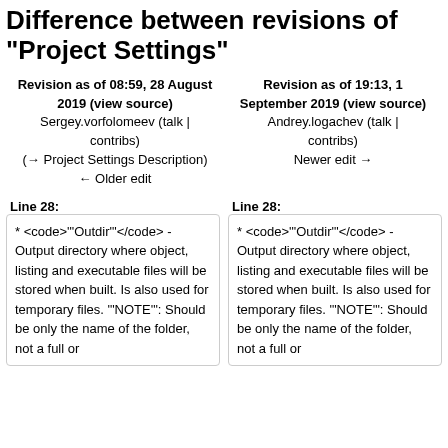Difference between revisions of "Project Settings"
Revision as of 08:59, 28 August 2019 (view source)
Sergey.vorfolomeev (talk | contribs)
(→ Project Settings Description)
← Older edit
Revision as of 19:13, 1 September 2019 (view source)
Andrey.logachev (talk | contribs)
Newer edit →
Line 28:
Line 28:
* <code>"'Outdir'"</code> - Output directory where object, listing and executable files will be stored when built. Is also used for temporary files. "'NOTE'": Should be only the name of the folder, not a full or
* <code>"'Outdir'"</code> - Output directory where object, listing and executable files will be stored when built. Is also used for temporary files. "'NOTE'": Should be only the name of the folder, not a full or